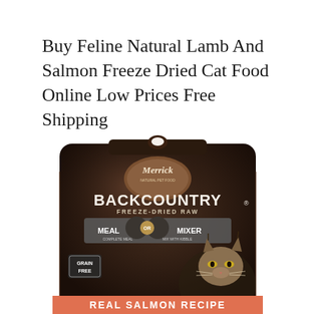Buy Feline Natural Lamb And Salmon Freeze Dried Cat Food Online Low Prices Free Shipping
[Figure (photo): Product photo of Merrick Backcountry Freeze-Dried Raw cat food bag — Real Salmon Recipe, Grain Free, Meal or Mixer, showing a lynx on the front of a dark brown/black resealable pouch.]